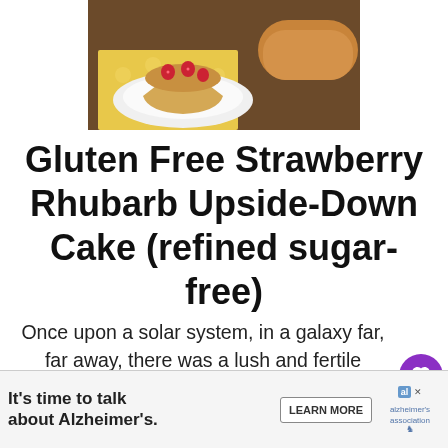[Figure (photo): Photo of a slice of strawberry rhubarb upside-down cake on a white plate with a yellow patterned napkin]
Gluten Free Strawberry Rhubarb Upside-Down Cake (refined sugar-free)
Once upon a solar system, in a galaxy far, far away, there was a lush and fertile planet. On this planet inhabited peaceful beings with hair like celery and fingers like parsnips. These vegetable-looking life-forms had the best of intentions but like
[Figure (other): Advertisement banner: It's time to talk about Alzheimer's. Learn More. Alzheimer's Association logo.]